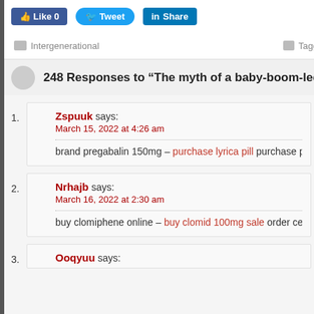[Figure (screenshot): Social sharing buttons: Like 0, Tweet, Share]
Intergenerational   Tagg...
248 Responses to “The myth of a baby-boom-led housing
1. Zspuuk says: March 15, 2022 at 4:26 am — brand pregabalin 150mg – purchase lyrica pill purchase pregabalin pills
2. Nrhajb says: March 16, 2022 at 2:30 am — buy clomiphene online – buy clomid 100mg sale order cetirizine 5mg ge
3. Ooqyuu says: